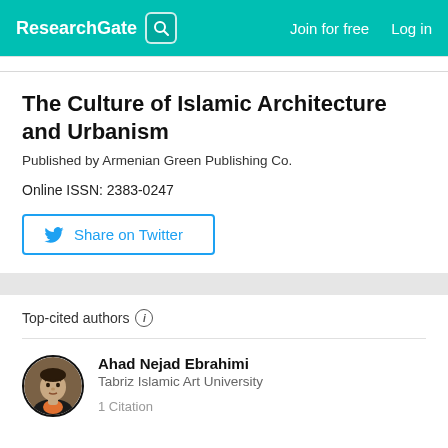ResearchGate  Join for free  Log in
The Culture of Islamic Architecture and Urbanism
Published by Armenian Green Publishing Co.
Online ISSN: 2383-0247
Share on Twitter
Top-cited authors
Ahad Nejad Ebrahimi
Tabriz Islamic Art University
1 Citation